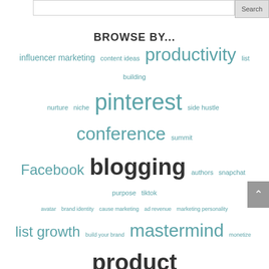[Figure (other): Search bar with input field and Search button]
BROWSE BY...
influencer marketing  content ideas  productivity  list building  nurture  niche  pinterest  side hustle  conference  summit  Facebook  blogging  authors  snapchat  purpose  tiktok  avatar  brand identity  cause marketing  ad revenue  marketing personality  list growth  build your brand  mastermind  monetize  product  entrepreneur  social media  e-course  instagram live  overwhelm  content creation  confidence  iea  reels  sabotaging  google updates  algorithm update  SOPs  giveaways  book  pitching  stories  twitter  sales